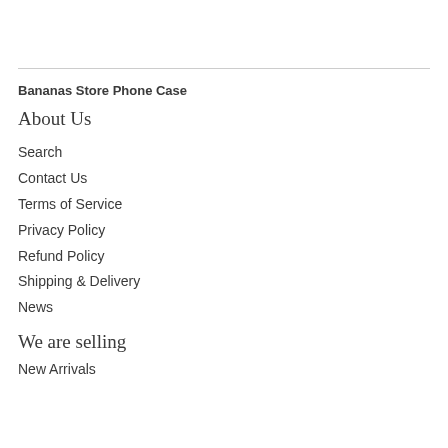Bananas Store Phone Case
About Us
Search
Contact Us
Terms of Service
Privacy Policy
Refund Policy
Shipping & Delivery
News
We are selling
New Arrivals